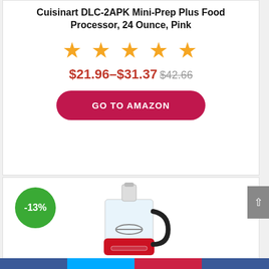Cuisinart DLC-2APK Mini-Prep Plus Food Processor, 24 Ounce, Pink
[Figure (other): Five orange star rating icons]
$21.96–$31.37 $42.66
GO TO AMAZON
[Figure (photo): Red KitchenAid food processor with transparent bowl, with a -13% green discount badge]
Navigation bar